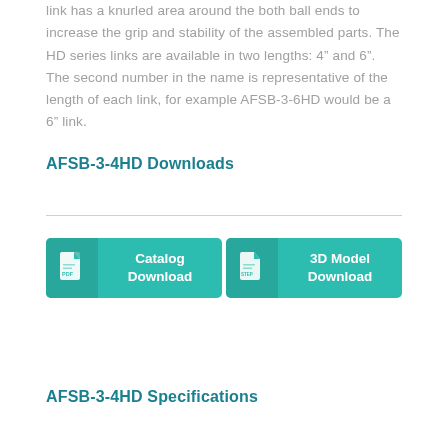link has a knurled area around the both ball ends to increase the grip and stability of the assembled parts. The HD series links are available in two lengths: 4" and 6". The second number in the name is representative of the length of each link, for example AFSB-3-6HD would be a 6" link.
AFSB-3-4HD Downloads
[Figure (infographic): Two teal download buttons side by side: 'Catalog Download' (PDF icon on left) and '3D Model Download' (STEP icon on left).]
AFSB-3-4HD Specifications